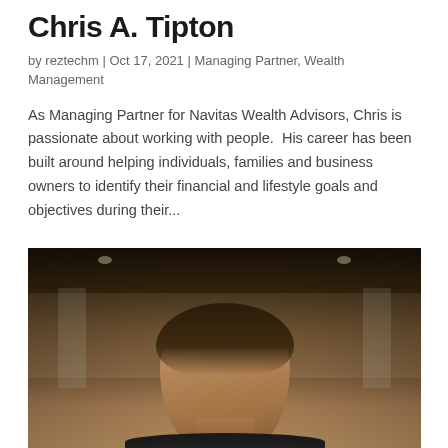Chris A. Tipton
by reztechm | Oct 17, 2021 | Managing Partner, Wealth Management
As Managing Partner for Navitas Wealth Advisors, Chris is passionate about working with people.  His career has been built around helping individuals, families and business owners to identify their financial and lifestyle goals and objectives during their...
[Figure (photo): Professional headshot photo of Chris A. Tipton, a man with dark hair wearing a dark suit, photographed in a blurred office interior with windows in the background.]